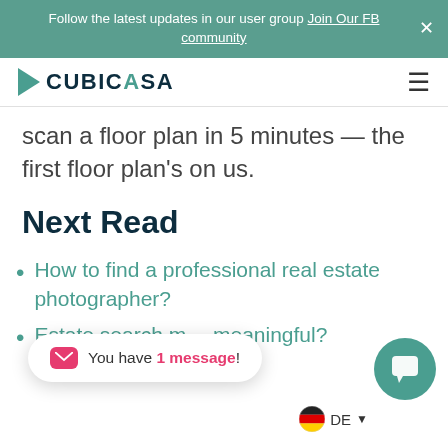Follow the latest updates in our user group Join Our FB community
[Figure (logo): CubiCasa logo with teal arrow and text]
scan a floor plan in 5 minutes — the first floor plan's on us.
Next Read
How to find a professional real estate photographer?
Estate search meaningful?
You have 1 message!